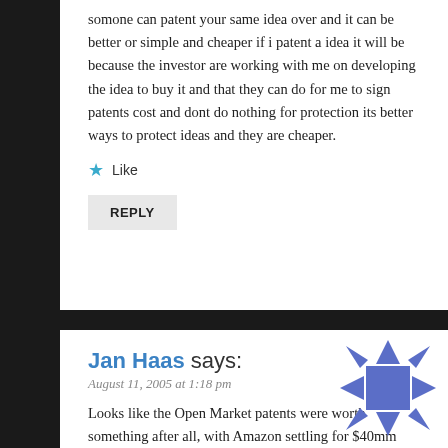somone can patent your same idea over and it can be better or simple and cheaper if i patent a idea it will be because the investor are working with me on developing the idea to buy it and that they can do for me to sign patents cost and dont do nothing for protection its better ways to protect ideas and they are cheaper.
★ Like
REPLY
Jan Haas says:
August 11, 2005 at 1:18 pm
[Figure (illustration): Avatar icon made of blue geometric triangles and squares arranged in a pinwheel/starburst pattern]
Looks like the Open Market patents were worth something after all, with Amazon settling for $40mm today. Your points continue to be valid though. This is a rare victory and most certainly didn't cover the amount invested in building the